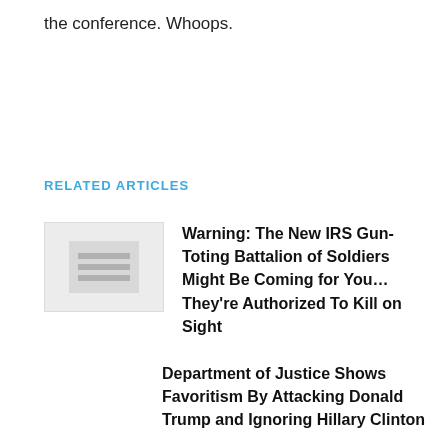the conference. Whoops.
RELATED ARTICLES
[Figure (photo): Thumbnail image placeholder for related article]
Warning: The New IRS Gun-Toting Battalion of Soldiers Might Be Coming for You…They're Authorized To Kill on Sight
Department of Justice Shows Favoritism By Attacking Donald Trump and Ignoring Hillary Clinton